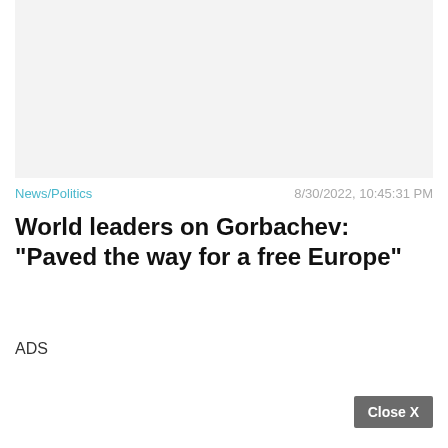[Figure (photo): Empty light grey image placeholder area]
News/Politics
8/30/2022, 10:45:31 PM
World leaders on Gorbachev: "Paved the way for a free Europe"
ADS
Close X